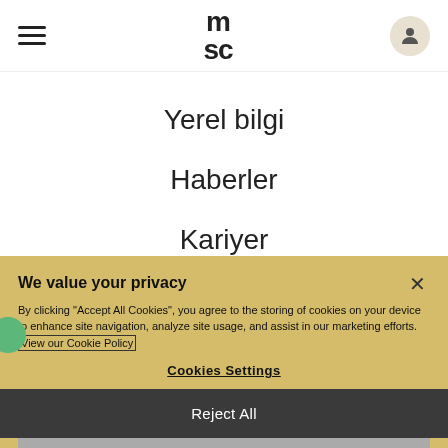MSC navigation bar with hamburger menu, MSC logo, and user icon
Yerel bilgi
Haberler
Kariyer
Bize Ulaşın
We value your privacy
By clicking "Accept All Cookies", you agree to the storing of cookies on your device to enhance site navigation, analyze site usage, and assist in our marketing efforts. View our Cookie Policy
Cookies Settings
Reject All